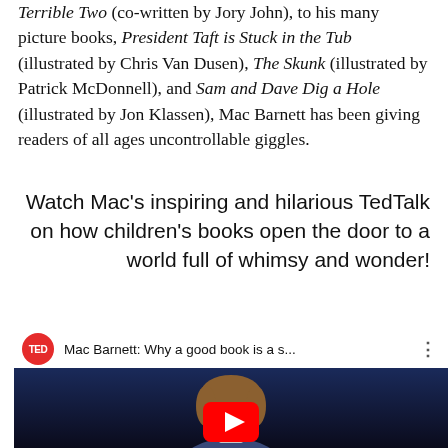Terrible Two (co-written by Jory John), to his many picture books, President Taft is Stuck in the Tub (illustrated by Chris Van Dusen), The Skunk (illustrated by Patrick McDonnell), and Sam and Dave Dig a Hole (illustrated by Jon Klassen), Mac Barnett has been giving readers of all ages uncontrollable giggles.
Watch Mac's inspiring and hilarious TedTalk on how children's books open the door to a world full of whimsy and wonder!
[Figure (screenshot): YouTube video thumbnail showing a TED talk by Mac Barnett titled 'Mac Barnett: Why a good book is a s...' with the TED logo in red circle, a man with long hair smiling, and a YouTube play button at the bottom.]